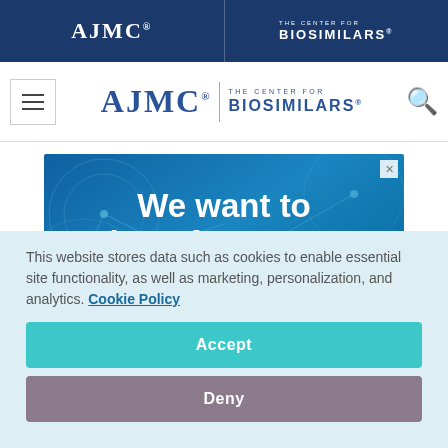AJMC | THE CENTER FOR BIOSIMILARS
[Figure (logo): AJMC The Center for Biosimilars logo with hamburger menu and search icon]
[Figure (infographic): Advertisement banner with blue background reading 'We want to hear from you. Take The Center for Biosimilars® readership survey']
This website stores data such as cookies to enable essential site functionality, as well as marketing, personalization, and analytics. Cookie Policy
Accept
Deny